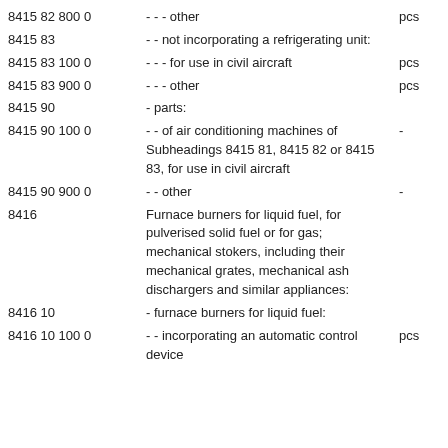| Code | Description | Unit |
| --- | --- | --- |
| 8415 82 800 0 | - - - other | pcs |
| 8415 83 | - - not incorporating a refrigerating unit: |  |
| 8415 83 100 0 | - - - for use in civil aircraft | pcs |
| 8415 83 900 0 | - - - other | pcs |
| 8415 90 | - parts: |  |
| 8415 90 100 0 | - - of air conditioning machines of Subheadings 8415 81, 8415 82 or 8415 83, for use in civil aircraft | - |
| 8415 90 900 0 | - - other | - |
| 8416 | Furnace burners for liquid fuel, for pulverised solid fuel or for gas; mechanical stokers, including their mechanical grates, mechanical ash dischargers and similar appliances: |  |
| 8416 10 | - furnace burners for liquid fuel: |  |
| 8416 10 100 0 | - - incorporating an automatic control device | pcs |